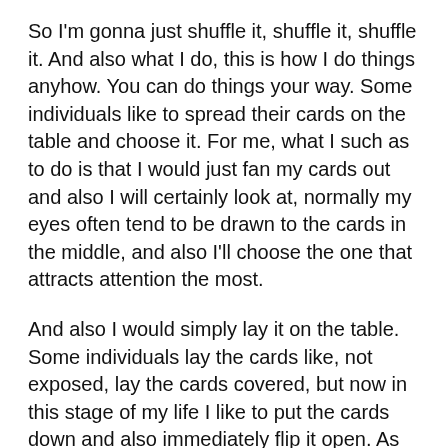So I'm gonna just shuffle it, shuffle it, shuffle it. And also what I do, this is how I do things anyhow. You can do things your way. Some individuals like to spread their cards on the table and choose it. For me, what I such as to do is that I would just fan my cards out and also I will certainly look at, normally my eyes often tend to be drawn to the cards in the middle, and also I'll choose the one that attracts attention the most.
And also I would simply lay it on the table. Some individuals lay the cards like, not exposed, lay the cards covered, but now in this stage of my life I like to put the cards down and also immediately flip it open. As well as you flip it open from the side.